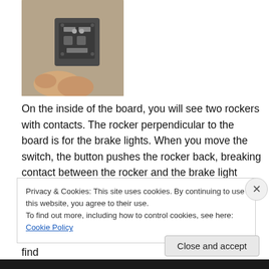[Figure (photo): Close-up photo of a hand holding a small mechanical rocker/contact switch component against a beige background]
On the inside of the board, you will see two rockers with contacts. The rocker perpendicular to the board is for the brake lights. When you move the switch, the button pushes the rocker back, breaking contact between the rocker and the brake light contact for that side. The rocker that lies flat is for the turn signals. It is held in by the two tabs. You might need to separate them slightly to get the rocker loose. If you have a typical switch, you will find
Privacy & Cookies: This site uses cookies. By continuing to use this website, you agree to their use.
To find out more, including how to control cookies, see here: Cookie Policy